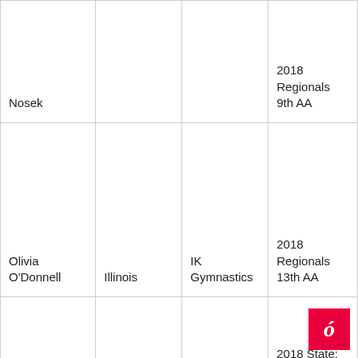| Name | State | Club | Notable Results |
| --- | --- | --- | --- |
| Nosek |  |  | 2018 Regionals 9th AA |
| Olivia O'Donnell | Illinois | IK Gymnastics | 2018 Regionals 13th AA |
| Julia Waight | Illinois | Phenom | 2018 State: 3rd AA
2018 Regionals 18th AA |